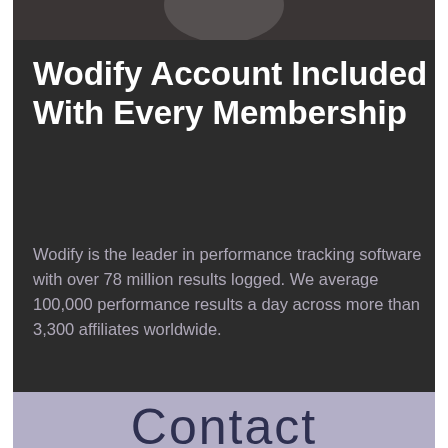[Figure (photo): Partial photo of a person, dark background, cropped at top of page]
Wodify Account Included With Every Membership
Wodify is the leader in performance tracking software with over 78 million results logged. We average 100,000 performance results a day across more than 3,300 affiliates worldwide.
Contact
Phone:
702 685 8156